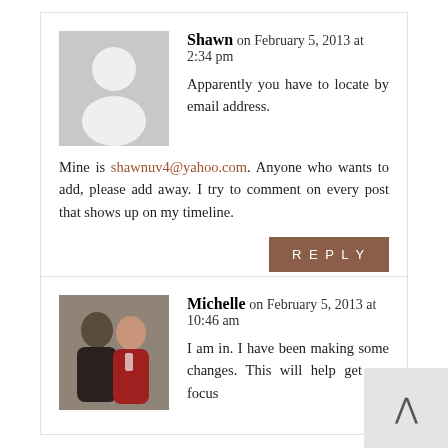Shawn on February 5, 2013 at 2:34 pm
Apparently you have to locate by email address. Mine is shawnuv4@yahoo.com. Anyone who wants to add, please add away. I try to comment on every post that shows up on my timeline.
REPLY
Michelle on February 5, 2013 at 10:46 am
I am in. I have been making some changes. This will help get my focus